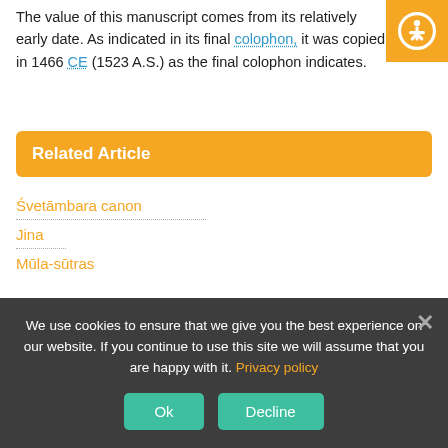The value of this manuscript comes from its relatively early date. As indicated in its final colophon, it was copied in 1466 CE (1523 A.S.) as the final colophon indicates.
Related Article
Śvetāmbara canon
Jina
Mūla-sūtras
We use cookies to ensure that we give you the best experience on our website. If you continue to use this site we will assume that you are happy with it. Privacy policy
Ok  Decline